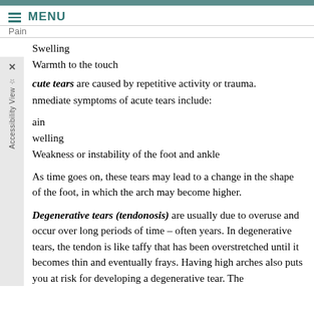MENU
Pain
Swelling
Warmth to the touch
Acute tears are caused by repetitive activity or trauma.
Immediate symptoms of acute tears include:
Pain
Swelling
Weakness or instability of the foot and ankle
As time goes on, these tears may lead to a change in the shape of the foot, in which the arch may become higher.
Degenerative tears (tendonosis) are usually due to overuse and occur over long periods of time – often years. In degenerative tears, the tendon is like taffy that has been overstretched until it becomes thin and eventually frays. Having high arches also puts you at risk for developing a degenerative tear. The